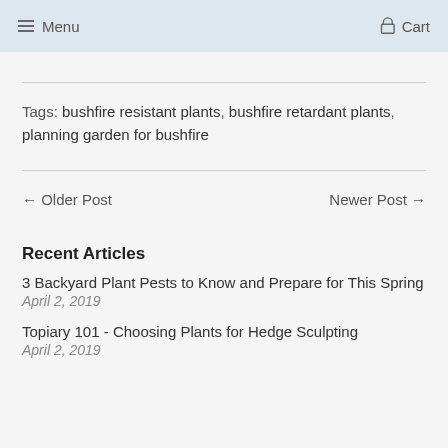Menu  Cart
Tags: bushfire resistant plants, bushfire retardant plants, planning garden for bushfire
← Older Post   Newer Post →
Recent Articles
3 Backyard Plant Pests to Know and Prepare for This Spring
April 2, 2019
Topiary 101 - Choosing Plants for Hedge Sculpting
April 2, 2019